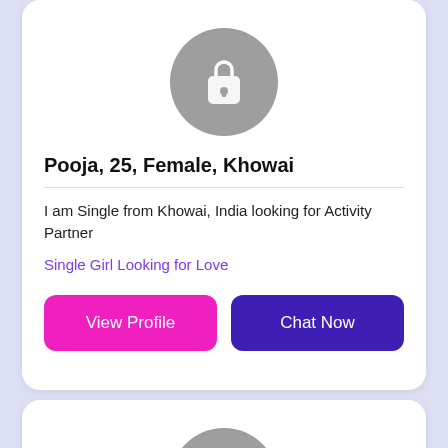[Figure (illustration): Locked profile avatar - grey circle with white padlock icon]
Pooja, 25, Female, Khowai
I am Single from Khowai, India looking for Activity Partner
Single Girl Looking for Love
View Profile
Chat Now
[Figure (illustration): Locked profile avatar - grey circle with white padlock icon (second card)]